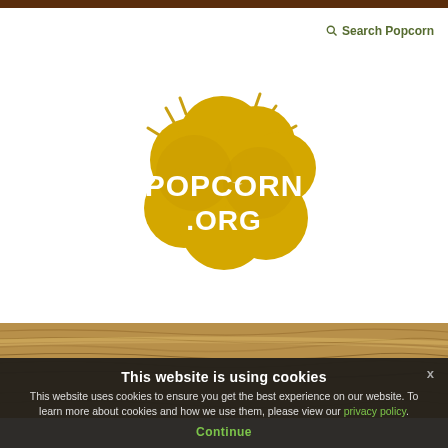Search Popcorn
[Figure (logo): Popcorn.org logo — golden yellow popcorn cloud shape with white text reading POPCORN .ORG, with radiating lines suggesting popping]
[Figure (photo): Wood grain texture background — brown wooden surface with horizontal grain lines]
This website is using cookies
This website uses cookies to ensure you get the best experience on our website. To learn more about cookies and how we use them, please view our privacy policy.
Continue